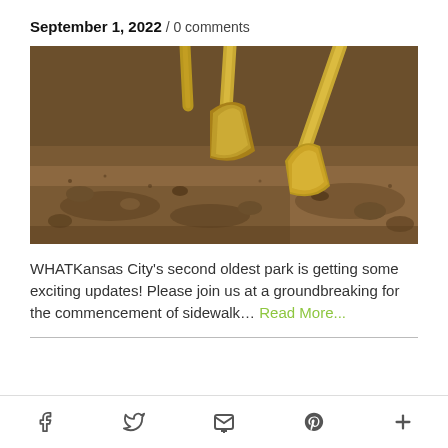September 1, 2022 / 0 comments
[Figure (photo): Close-up photograph of golden ceremonial shovels (groundbreaking shovels) inserted into brown sandy soil, with shallow depth of field.]
WHATKansas City's second oldest park is getting some exciting updates! Please join us at a groundbreaking for the commencement of sidewalk... Read More...
Social media share icons: Facebook, Twitter, Email, Pinterest, More